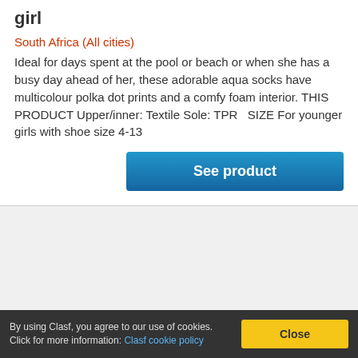girl
South Africa (All cities)
Ideal for days spent at the pool or beach or when she has a busy day ahead of her, these adorable aqua socks have multicolour polka dot prints and a comfy foam interior. THIS PRODUCT Upper/inner: Textile Sole: TPR   SIZE For younger girls with shoe size 4-13
See product
By using Clasf, you agree to our use of cookies. Click for more information: Clasf cookie policy